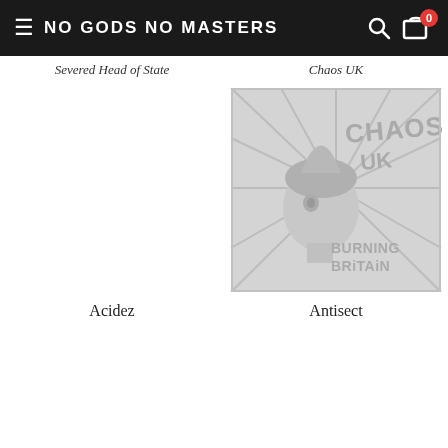NO GODS NO MASTERS
Severed Head of State
Chaos UK
[Figure (illustration): Album cover for Antisect - Burning Britain. Shows an anime-style illustration of a punk girl with a mohawk, with 'Chaos UK' graffiti-style text at the top and 'BURNING BRITAIN' text at the bottom right. Image is in greyscale/light grey tones.]
Acidez
Antisect